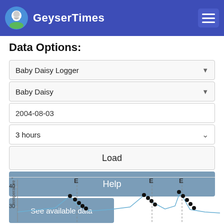GeyserTimes
Data Options:
Baby Daisy Logger
Baby Daisy
2004-08-03
3 hours
Load
Help
See available data
[Figure (continuous-plot): Temperature vs time line chart with E (eruption) markers and black dots indicating events. Y-axis shows temperature in °C ranging from about 30 to 40+. Multiple eruption markers (E) with dashed vertical lines at approximately three points along the x-axis.]